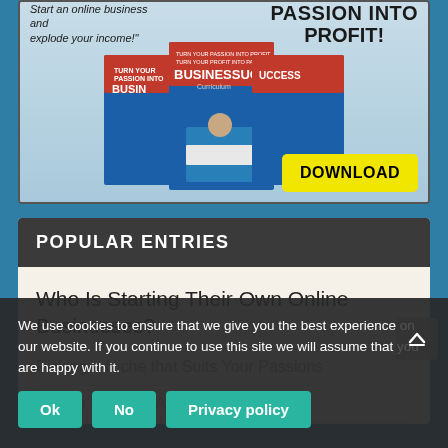[Figure (screenshot): Advertisement banner with book covers for 'BusinessSuccess Curriculum', italic text 'explode your income!' on left, bold heading 'PASSION INTO PROFIT!' on right, and a yellow DOWNLOAD button in the bottom right corner.]
POPULAR ENTRIES
Who Is Starting Their Own Online Businesses?
Picking a Niche that Suits Your Passions
How to Be a S...A...
We use cookies to ensure that we give you the best experience on our website. If you continue to use this site we will assume that you are happy with it.